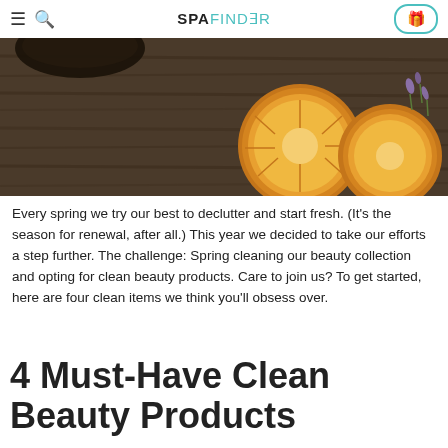≡ 🔍  SPAFINDER  🎁
[Figure (photo): Overhead view of dried orange slices on a dark wooden surface, with a dark bowl and lavender sprigs in the background — warm, natural spa aesthetic.]
Every spring we try our best to declutter and start fresh. (It's the season for renewal, after all.) This year we decided to take our efforts a step further. The challenge: Spring cleaning our beauty collection and opting for clean beauty products. Care to join us? To get started, here are four clean items we think you'll obsess over.
4 Must-Have Clean Beauty Products